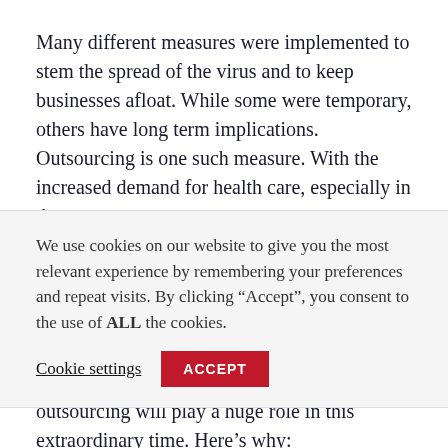Many different measures were implemented to stem the spread of the virus and to keep businesses afloat. While some were temporary, others have long term implications. Outsourcing is one such measure. With the increased demand for health care, especially in the
We use cookies on our website to give you the most relevant experience by remembering your preferences and repeat visits. By clicking “Accept”, you consent to the use of ALL the cookies.
stand up and deliver. We believe that outsourcing will play a huge role in this extraordinary time. Here’s why:
Focus on Core Business
Outsourcing can provide businesses with expert clinical back-end services to improve efficiency and grow profitability. By outsourcing non-core functions, nurses